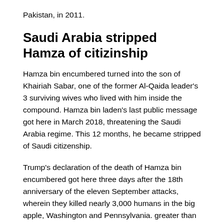Pakistan, in 2011.
Saudi Arabia stripped Hamza of citizinship
Hamza bin encumbered turned into the son of Khairiah Sabar, one of the former Al-Qaida leader's 3 surviving wives who lived with him inside the compound. Hamza bin laden’s last public message got here in March 2018, threatening the Saudi Arabia regime. This 12 months, he became stripped of Saudi citizenship.
Trump’s declaration of the death of Hamza bin encumbered got here three days after the 18th anniversary of the eleven September attacks, wherein they killed nearly 3,000 humans in the big apple, Washington and Pennsylvania. greater than 2,000 deaths were attributed to put up-11th of September illnesses.